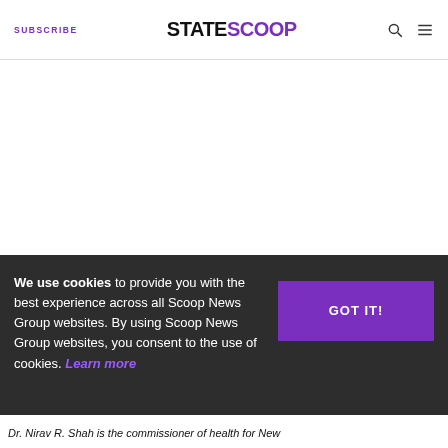SUBSCRIBE | STATESCOOP | (search icon) (menu icon)
[Figure (other): Large white blank content area below the header — appears to be an advertisement or image placeholder that has not loaded.]
We use cookies to provide you with the best experience across all Scoop News Group websites. By using Scoop News Group websites, you consent to the use of cookies. Learn more
GOT IT!
Dr. Nirav R. Shah is the commissioner of health for New